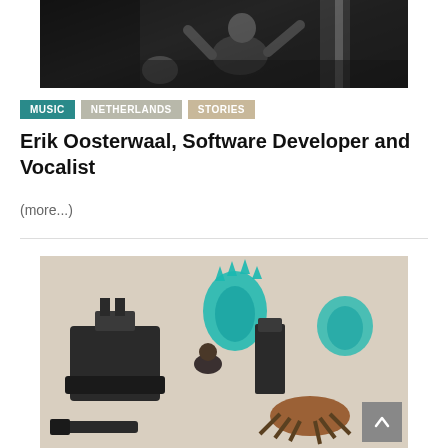[Figure (photo): Black and white photo of a person (vocalist/performer) with arms raised, dramatic lighting]
MUSIC
NETHERLANDS
STORIES
Erik Oosterwaal, Software Developer and Vocalist
(more...)
[Figure (photo): Color photo of miniature figurines/tabletop game pieces including a tank, fantasy creatures with teal/turquoise translucent effects, and a detailed character figure on a gaming table]